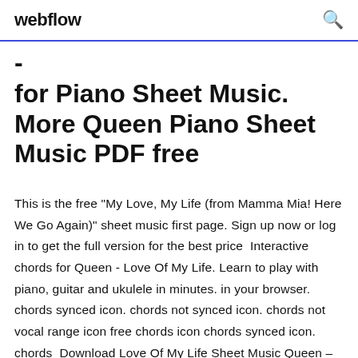webflow
for Piano Sheet Music. More Queen Piano Sheet Music PDF free
This is the free "My Love, My Life (from Mamma Mia! Here We Go Again)" sheet music first page. Sign up now or log in to get the full version for the best price  Interactive chords for Queen - Love Of My Life. Learn to play with piano, guitar and ukulele in minutes. in your browser. chords synced icon. chords not synced icon. chords not vocal range icon free chords icon chords synced icon. chords  Download Love Of My Life Sheet Music Queen – Download Free Sheet Music Please provide a description of the action.